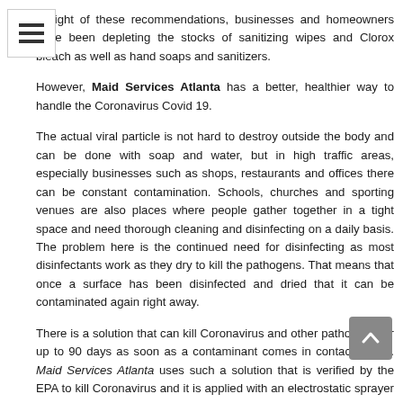In light of these recommendations, businesses and homeowners have been depleting the stocks of sanitizing wipes and Clorox bleach as well as hand soaps and sanitizers.
However, Maid Services Atlanta has a better, healthier way to handle the Coronavirus Covid 19.
The actual viral particle is not hard to destroy outside the body and can be done with soap and water, but in high traffic areas, especially businesses such as shops, restaurants and offices there can be constant contamination. Schools, churches and sporting venues are also places where people gather together in a tight space and need thorough cleaning and disinfecting on a daily basis. The problem here is the continued need for disinfecting as most disinfectants work as they dry to kill the pathogens. That means that once a surface has been disinfected and dried that it can be contaminated again right away.
There is a solution that can kill Coronavirus and other pathogens for up to 90 days as soon as a contaminant comes in contact with it. Maid Services Atlanta uses such a solution that is verified by the EPA to kill Coronavirus and it is applied with an electrostatic sprayer that covers all surfaces.